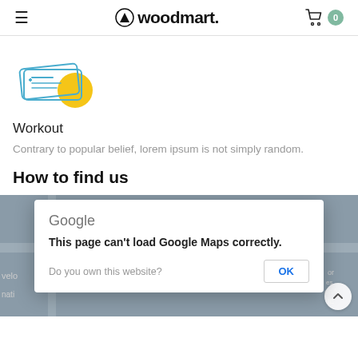woodmart.
[Figure (illustration): Woodmart logo icon with ticket/card illustration and yellow circle accent]
Workout
Contrary to popular belief, lorem ipsum is not simply random.
How to find us
[Figure (screenshot): Google Maps error dialog overlay on map: 'This page can't load Google Maps correctly.' with OK button and 'Do you own this website?' text]